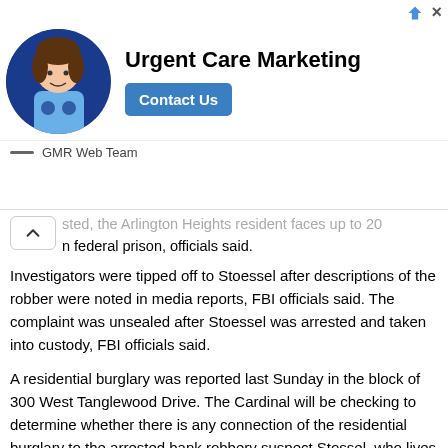[Figure (infographic): Advertisement banner for Urgent Care Marketing by GMR Web Team, showing a person in medical attire, a Contact Us button, navigation arrow and close button.]
sted, the Arlington Heights resident faces up to 20 n federal prison, officials said.
Investigators were tipped off to Stoessel after descriptions of the robber were noted in media reports, FBI officials said. The complaint was unsealed after Stoessel was arrested and taken into custody, FBI officials said.
A residential burglary was reported last Sunday in the block of 300 West Tanglewood Drive. The Cardinal will be checking to determine whether there is any connection of the residential burglary to the arrested bank robbery suspect Stossel, who lives in the same block.
No suspect image of the Palatine Jewel-Osco TCF Bank has been released. It is unknown whether Stossel is also a suspect in the TCF Bank robbery in Palatine that occurred Friday November 13, 2015.